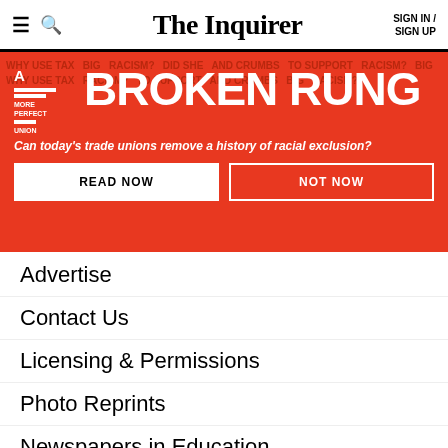The Inquirer — SIGN IN / SIGN UP
[Figure (infographic): A More Perfect Union: BROKEN RUNG — Can today's trade unions remove a history of racial exclusion? READ NOW | NOT NOW promotional banner on red background]
Advertise
Contact Us
Licensing & Permissions
Photo Reprints
Newspapers in Education
Jobs & Internships